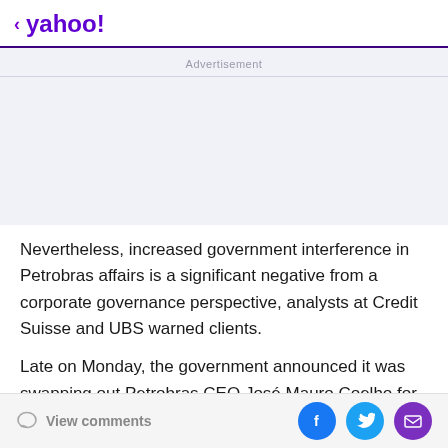< yahoo!
Advertisement
Nevertheless, increased government interference in Petrobras affairs is a significant negative from a corporate governance perspective, analysts at Credit Suisse and UBS warned clients.
Late on Monday, the government announced it was swapping out Petrobras CEO José Mauro Coelho for
View comments